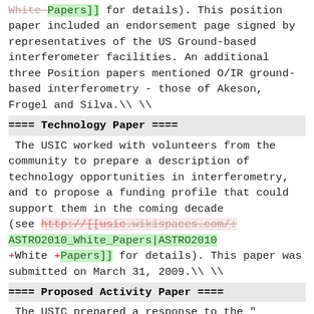White Papers]] for details). This position paper included an endorsement page signed by representatives of the US Ground-based interferometer facilities. An additional three Position papers mentioned O/IR ground-based interferometry - those of Akeson, Frogel and Silva.\ \
==== Technology Paper ====
The USIC worked with volunteers from the community to prepare a description of technology opportunities in interferometry, and to propose a funding profile that could support them in the coming decade (see http://[[usic.wikispaces.com/: ASTRO2010_White_Papers|ASTRO2010 +White +Papers]] for details). This paper was submitted on March 31, 2009.\ \
==== Proposed Activity Paper ====
The USIC prepared a response to the "